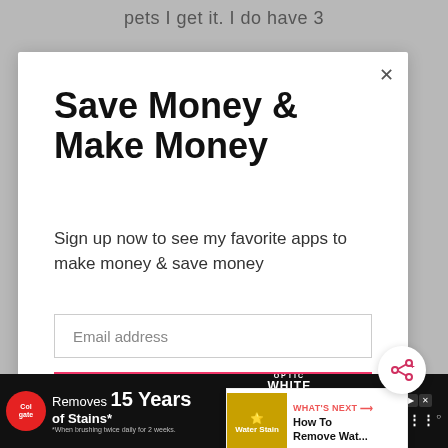pets I get it. I do have 3
Save Money & Make Money
Sign up now to see my favorite apps to make money & save money
Email address
Get It Now
WHAT'S NEXT → How To Remove Wat...
[Figure (screenshot): Bottom advertisement banner for Colgate Optic White Pro Series toothpaste. Shows Colgate logo, text 'Removes 15 Years of Stains*', Optic White Pro Series branding, Shop Now button, ad controls and Moat logo.]